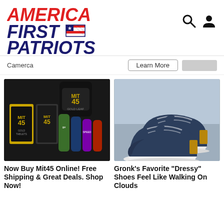[Figure (logo): America First Patriots logo — red italic AMERICA, blue italic FIRST with flag graphic, blue italic PATRIOTS]
[Figure (other): Search icon (magnifying glass) and user account icon in the top right header]
Camerca
[Figure (other): Learn More button (outlined) and a grey rectangle button in the ad bar]
[Figure (photo): MIT45 product lineup — bottles, tins, and packages of kratom/supplement products on white background]
[Figure (photo): Pair of dark navy blue dressy sneakers/shoes with tan leather accent and white sole on grey background]
Now Buy Mit45 Online! Free Shipping & Great Deals. Shop Now!
Gronk's Favorite "Dressy" Shoes Feel Like Walking On Clouds